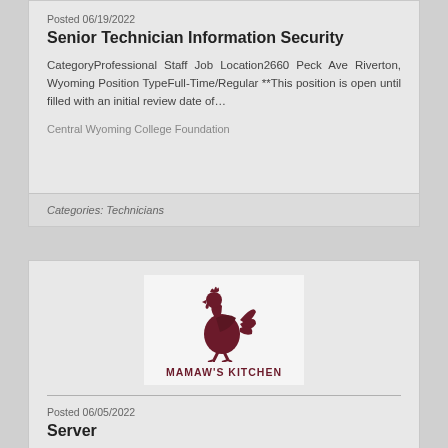Posted 06/19/2022
Senior Technician Information Security
CategoryProfessional Staff Job Location2660 Peck Ave Riverton, Wyoming Position TypeFull-Time/Regular **This position is open until filled with an initial review date of…
Central Wyoming College Foundation
Categories: Technicians
[Figure (logo): Mamaw's Kitchen logo with rooster silhouette above text MAMAW'S KITCHEN]
Posted 06/05/2022
Server